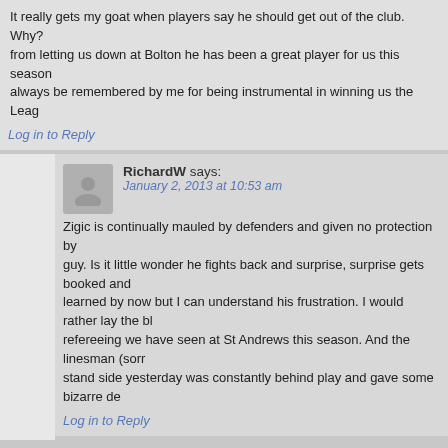It really gets my goat when players say he should get out of the club. Why? from letting us down at Bolton he has been a great player for us this season always be remembered by me for being instrumental in winning us the Leag
Log in to Reply
RichardW says:
January 2, 2013 at 10:53 am
Zigic is continually mauled by defenders and given no protection by guy. Is it little wonder he fights back and surprise, surprise gets booked and learned by now but I can understand his frustration. I would rather lay the bl refereeing we have seen at St Andrews this season. And the linesman (sorr stand side yesterday was constantly behind play and gave some bizarre de
Log in to Reply
andy says:
January 2, 2013 at 9:28 am
Lets get used to the idea that Blues will be starting from scratch, pos clubs have gone this way and with player sales looming i cant see any light at
Log in to Reply
RichardM says: